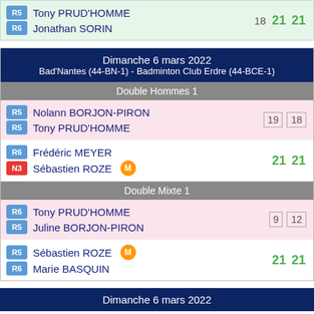| Badge | Player | S1 | S2 | S3 |
| --- | --- | --- | --- | --- |
| R5 | Tony PRUD'HOMME |  |  |  |
| R6 | Jonathan SORIN | 18 | 21 | 21 |
Dimanche 6 mars 2022
Bad'Nantes (44-BN-1) - Badminton Club Erdre (44-BCE-1)
Double Hommes 1
| Badge | Player | S1 | S2 |
| --- | --- | --- | --- |
| R5 | Nolann BORJON-PIRON | 19 | 18 |
| R5 | Tony PRUD'HOMME |  |  |
| Badge | Player | S1 | S2 |
| --- | --- | --- | --- |
| R6 | Frédéric MEYER | 21 | 21 |
| N3 | Sébastien ROZE (M) |  |  |
Double Mixte 1
| Badge | Player | S1 | S2 |
| --- | --- | --- | --- |
| R6 | Tony PRUD'HOMME | 9 | 12 |
| R5 | Juline BORJON-PIRON |  |  |
| Badge | Player | S1 | S2 |
| --- | --- | --- | --- |
| R5 | Sébastien ROZE (M) | 21 | 21 |
| R6 | Marie BASQUIN |  |  |
Dimanche 6 mars 2022